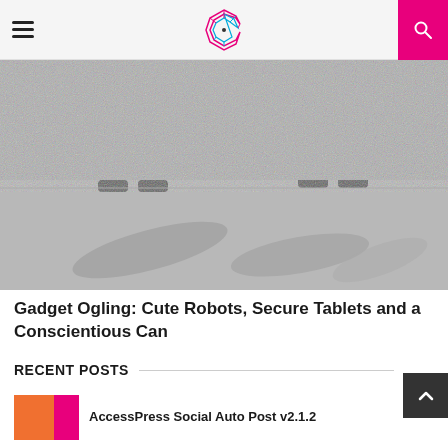Navigation header with hamburger menu, C logo, and search button
[Figure (photo): Close-up black and white photo of robot feet/legs standing on concrete ground with shadows cast behind them]
Gadget Ogling: Cute Robots, Secure Tablets and a Conscientious Can
RECENT POSTS
[Figure (photo): Thumbnail image with orange and pink colors for AccessPress Social Auto Post]
AccessPress Social Auto Post v2.1.2